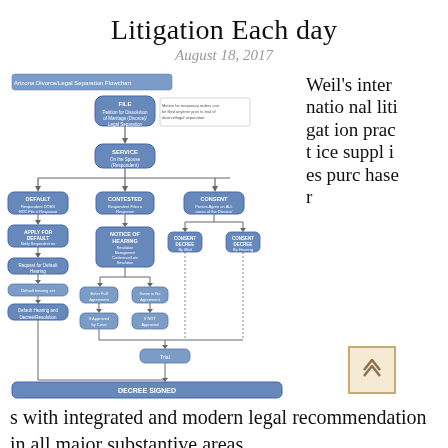Litigation Each day
August 18, 2017
[Figure (flowchart): Arizona Divorce/Legal Separation Flowchart showing process from FILE through SERVICE, DEFAULT/CONTESTED/CONSENT paths, NOTICE OF HEARING, agreement steps, and ending at DECREE SIGNED]
Weil's international litigation practice supplies purchaser s with integrated and modern legal recommendation in all major substantive areas